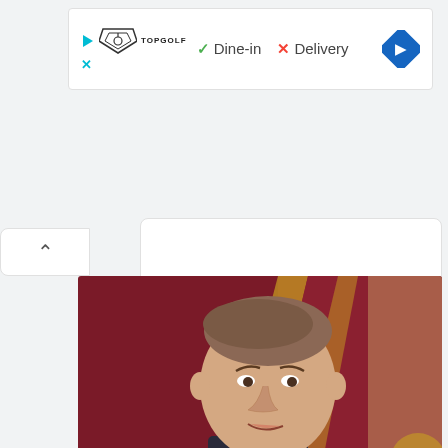[Figure (screenshot): Advertisement banner for Topgolf showing logo, Dine-in checkmark, Delivery X mark, and navigation arrow]
[Figure (photo): Photo of Robert Kuehl Goen, a middle-aged man in a dark suit with a microphone, against a red and gold stage background]
Robert Kuehl Goen is an American game show emcee and